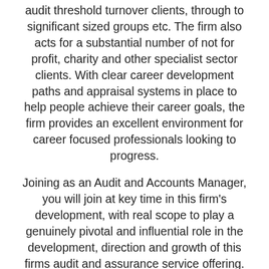audit threshold turnover clients, through to significant sized groups etc. The firm also acts for a substantial number of not for profit, charity and other specialist sector clients. With clear career development paths and appraisal systems in place to help people achieve their career goals, the firm provides an excellent environment for career focused professionals looking to progress.
Joining as an Audit and Accounts Manager, you will join at key time in this firm's development, with real scope to play a genuinely pivotal and influential role in the development, direction and growth of this firms audit and assurance service offering. You will manage, deliver and provide audit services to clients across varied industries and sectors encompassing a wide range of corporates, OMBs and SMEs through to not for profit, charity and other niche, specialist sector clients. You will develop client relationships and work with the wider tax and advisory/business services teams on delivering wider project work and manage develop and grow the audit team. A clear progression path is on offer